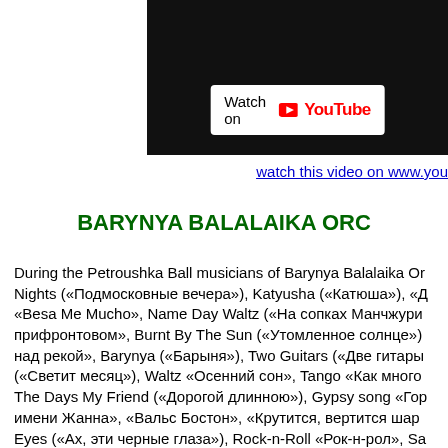[Figure (screenshot): YouTube video embed showing a dark video frame with a 'Watch on YouTube' button overlay]
watch this video on www.you
BARYNYA BALALAIKA ORC
During the Petroushka Ball musicians of Barynya Balalaika Or
Nights («Подмосковные вечера»), Katyusha («Катюша»), «Д
«Besa Me Mucho», Name Day Waltz («На сопках Манчжури
прифронтовом», Burnt By The Sun («Утомленное солнце»)
над рекой», Barynya («Барыня»), Two Guitars («Две гитары
(«Светит месяц»), Waltz «Осенний сон», Tango «Как много
The Days My Friend («Дорогой длинною»), Gypsy song «Гор
имени Жанна», «Вальс Бостон», «Крутится, вертится шар
Eyes («Ах, эти черные глаза»), Rock-n-Roll «Рок-н-рол», Sa
ночь»), «Где-то на белом свете», Ural Mountain Dance («Ур
«Московские окна», «Тумбалалайка», «Кадриль с выходом
раз, два, три», «Рябина кудрявая», Tango «Брызги шампан
«Гопак», «Живёт моя отрада», «Чубчик кучерявый», «Смуг
утро», Karapet («Девочка Надя»), Dark Eyes («Очи Чёрные
«Хороши весной цветочки», Waltz «Мой ласковый и нежные
«Песня про зайцев», «Варенічки», «Коробушка», «Ухарь-ку
selections